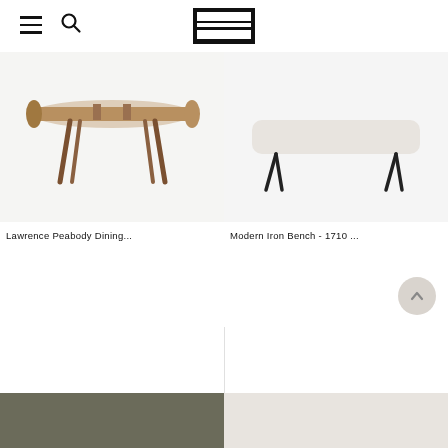Navigation header with hamburger menu, search icon, and logo
[Figure (photo): Dining table with mid-century modern design, dark walnut wood legs, oval/rectangular top, white background product photo]
[Figure (photo): Modern white upholstered bench with black hairpin metal legs, white background product photo]
Lawrence Peabody Dining...
Modern Iron Bench - 1710 ...
[Figure (photo): Dark olive/grey colored furniture piece, partially visible at bottom left]
[Figure (photo): Light cream/white colored furniture piece, partially visible at bottom right]